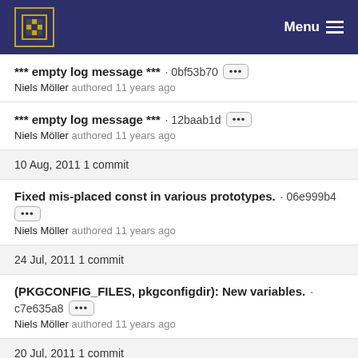Menu
*** empty log message *** · 0bf53b70 ···
Niels Möller authored 11 years ago
*** empty log message *** · 12baab1d ···
Niels Möller authored 11 years ago
10 Aug, 2011 1 commit
Fixed mis-placed const in various prototypes. · 06e999b4 ···
Niels Möller authored 11 years ago
24 Jul, 2011 1 commit
(PKGCONFIG_FILES, pkgconfigdir): New variables. · c7e635a8 ···
Niels Möller authored 11 years ago
20 Jul, 2011 1 commit